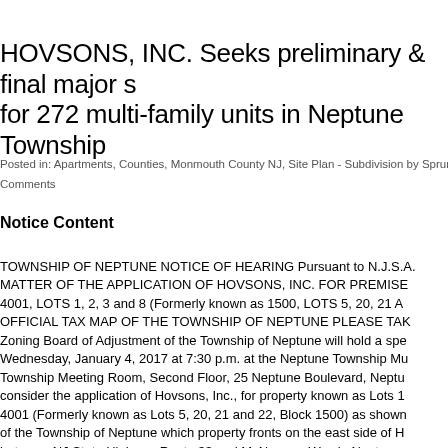HOVSONS, INC. Seeks preliminary & final major s for 272 multi-family units in Neptune Township
Posted in: Apartments, Counties, Monmouth County NJ, Site Plan - Subdivision by Sprung P Comments
Notice Content
TOWNSHIP OF NEPTUNE NOTICE OF HEARING Pursuant to N.J.S.A. MATTER OF THE APPLICATION OF HOVSONS, INC. FOR PREMISE 4001, LOTS 1, 2, 3 and 8 (Formerly known as 1500, LOTS 5, 20, 21 A OFFICIAL TAX MAP OF THE TOWNSHIP OF NEPTUNE PLEASE TAK Zoning Board of Adjustment of the Township of Neptune will hold a spe Wednesday, January 4, 2017 at 7:30 p.m. at the Neptune Township Mu Township Meeting Room, Second Floor, 25 Neptune Boulevard, Neptu consider the application of Hovsons, Inc., for property known as Lots 1 4001 (Formerly known as Lots 5, 20, 21 and 22, Block 1500) as shown of the Township of Neptune which property fronts on the east side of H between NJ State Highway Route 33 and McNamara Way in Neptune, the subject property also have frontages on McNamara Way, Oakcrest Road. Applicant seeks preliminary and final major site plan...